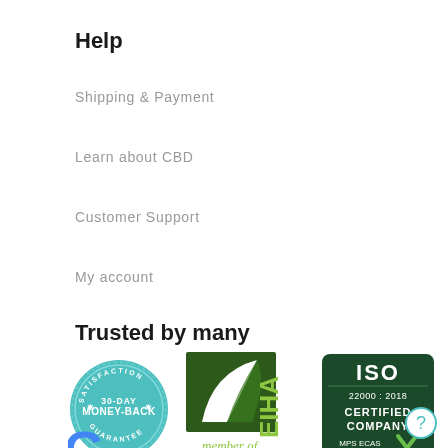Help
Shipping & Payment
Learn about CBD
Customer Support
My account
Trusted by many
[Figure (logo): Satisfaction 30-Day Money-Back Guarantee circular badge in teal/cyan]
[Figure (logo): EIHA Member of logo with green leaf design]
[Figure (logo): ISO 22000:2018 Certified Company MPS ECAS badge in dark green]
[Figure (logo): Partial Google logo (G letter) visible at bottom]
[Figure (other): Circular help/question mark button in teal outline]